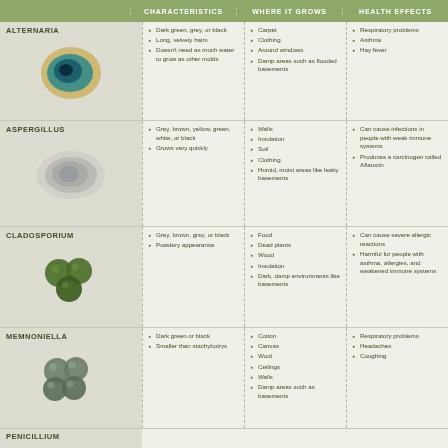CHARACTERISTICS | WHERE IT GROWS | HEALTH EFFECTS
ALTERNARIA
Dark green, grey, or black
Long, velvety hairs
Doesn't need as much water to grow as other molds
Carpet
Clothing
Around windows
Damp areas such as flooded basements
Respiratory problems
Asthma
Hay fever
ASPERGILLUS
Grey, brown, yellow, green, white, or black
Grows very quickly
Walls
Insulation
Soil
Clothing
Humid, moist areas like leaky basements
Can cause infections in people with weak immune systems
Produces a carcinogen called Aflatoxin
CLADOSPORIUM
Grey, brown, grey, or black
Powdery appearance
Food
Dead plants
Wood
Insulation
Dark, damp environments like basements
Can cause severe allergic reactions
Harmful for people with asthma, allergies, and weakened immune systems
MEMNONIELLA
Dark green or black
Smaller than stachybotrys
Cotton
Canvas
Wool
Ceilings
Walls
Damp areas such as basements
Respiratory problems
Headaches
Coughing
PENICILLIUM